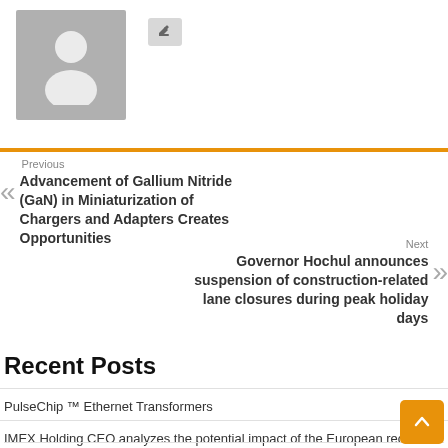[Figure (illustration): Gray placeholder avatar with person silhouette icon]
[Figure (other): Small gray edit button with pencil icon]
Previous
Advancement of Gallium Nitride (GaN) in Miniaturization of Chargers and Adapters Creates Opportunities
Next
Governor Hochul announces suspension of construction-related lane closures during peak holiday days
Recent Posts
PulseChip ™ Ethernet Transformers
IMEX Holding CEO analyzes the potential impact of the European recession
Ban cell phones in schools